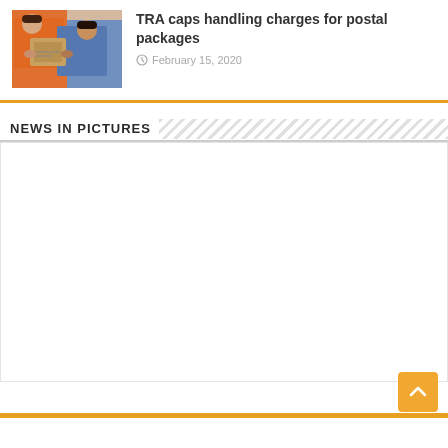[Figure (photo): Two people, one in orange shirt and one in blue shirt, exchanging cardboard packages/boxes]
TRA caps handling charges for postal packages
February 15, 2020
NEWS IN PICTURES
[Figure (photo): Empty white space placeholder for news pictures slideshow]